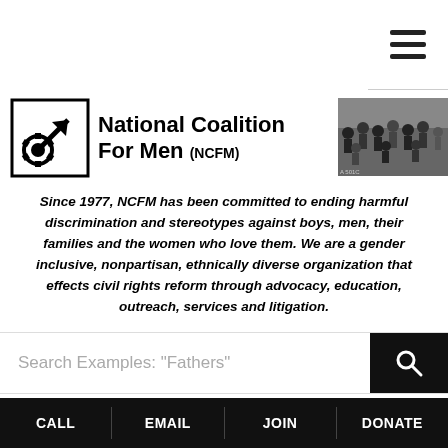[Figure (illustration): Hamburger menu icon (three horizontal lines) in top-right corner]
[Figure (logo): National Coalition For Men (NCFM) logo with gear/symbol icon]
[Figure (photo): Black and white group photo of people]
Since 1977, NCFM has been committed to ending harmful discrimination and stereotypes against boys, men, their families and the women who love them. We are a gender inclusive, nonpartisan, ethnically diverse organization that effects civil rights reform through advocacy, education, outreach, services and litigation.
Search Examples: "Fathers"
NCFM
NCFM PR Director Steven Svoboda book
CALL  EMAIL  JOIN  DONATE